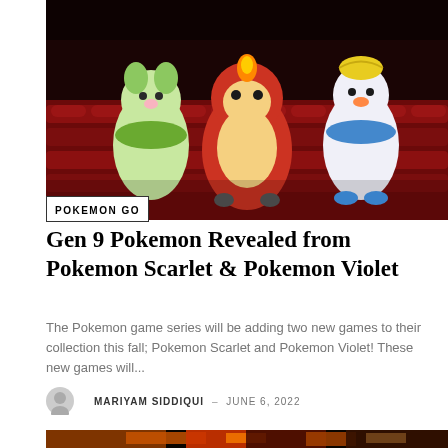[Figure (photo): Three Gen 9 Pokemon (Sprigatito, Fuecoco, Quaxly) sitting in red movie theater seats against a dark background]
POKEMON GO
Gen 9 Pokemon Revealed from Pokemon Scarlet & Pokemon Violet
The Pokemon game series will be adding two new games to their collection this fall; Pokemon Scarlet and Pokemon Violet! These new games will...
MARIYAM SIDDIQUI – JUNE 6, 2022
[Figure (photo): Dark fantasy game screenshot with fire and glowing elements, appears to be an action RPG dungeon scene]